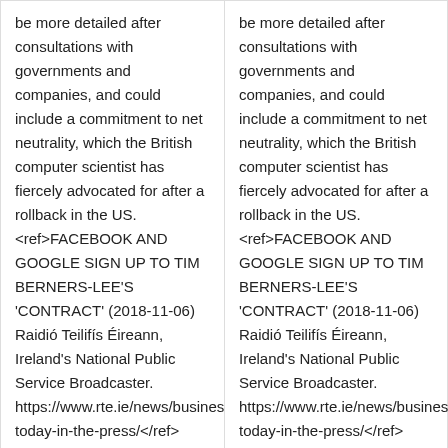be more detailed after consultations with governments and companies, and could include a commitment to net neutrality, which the British computer scientist has fiercely advocated for after a rollback in the US. <ref>FACEBOOK AND GOOGLE SIGN UP TO TIM BERNERS-LEE'S 'CONTRACT' (2018-11-06) Raidió Teilifís Éireann, Ireland's National Public Service Broadcaster. https://www.rte.ie/news/business/2018/1106/1008960-today-in-the-press/</ref> </blockquote>
be more detailed after consultations with governments and companies, and could include a commitment to net neutrality, which the British computer scientist has fiercely advocated for after a rollback in the US. <ref>FACEBOOK AND GOOGLE SIGN UP TO TIM BERNERS-LEE'S 'CONTRACT' (2018-11-06) Raidió Teilifís Éireann, Ireland's National Public Service Broadcaster. https://www.rte.ie/news/business/2018/1106/1008960-today-in-the-press/</ref> </blockquote>